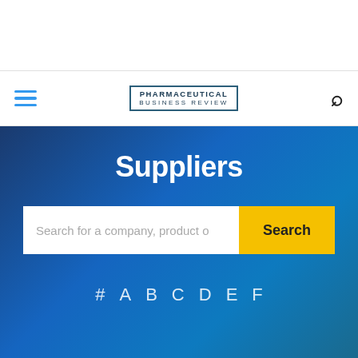Pharmaceutical Business Review — Navigation bar with hamburger menu and search icon
Suppliers
Search for a company, product o
# A B C D E F